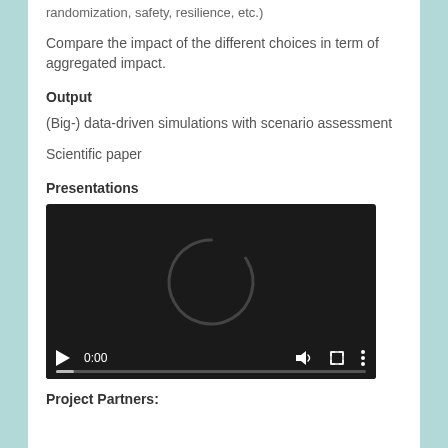randomization, safety, resilience, etc.)
Compare the impact of the different choices in term of aggregated impact.
Output
(Big-) data-driven simulations with scenario assessment
Scientific paper
Presentations
[Figure (screenshot): Embedded video player showing a dark screen with a loading spinner arc and playback controls including play button, time 0:00, volume, fullscreen, and more options icons.]
Project Partners: